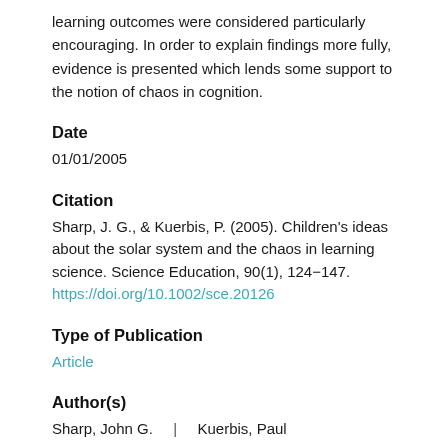learning outcomes were considered particularly encouraging. In order to explain findings more fully, evidence is presented which lends some support to the notion of chaos in cognition.
Date
01/01/2005
Citation
Sharp, J. G., & Kuerbis, P. (2005). Children's ideas about the solar system and the chaos in learning science. Science Education, 90(1), 124−147.
https://doi.org/10.1002/sce.20126
Type of Publication
Article
Author(s)
Sharp, John G.    |    Kuerbis, Paul
Content
Planetary Sciences > Solar System